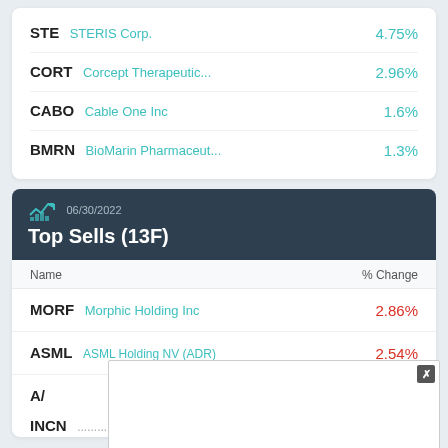STE STERIS Corp. 4.75%
CORT Corcept Therapeutic... 2.96%
CABO Cable One Inc 1.6%
BMRN BioMarin Pharmaceut... 1.3%
06/30/2022 Top Sells (13F)
| Name | % Change |
| --- | --- |
| MORF Morphic Holding Inc | 2.86% |
| ASML ASML Holding NV (ADR) | 2.54% |
| A/ |  |
| INCN ... | 1.00% |